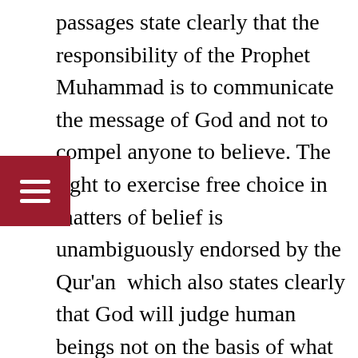passages state clearly that the responsibility of the Prophet Muhammad is to communicate the message of God and not to compel anyone to believe. The right to exercise free choice in matters of belief is unambiguously endorsed by the Qur'an  which also states clearly that God will judge human beings not on the basis of what they profess but on the basis of their belief and righteous conduct , as indicated by Surah 2: Al-Baqura: 62 which says:
Those who believe (in the Qur'an) And those who follow the Jewish (scriptures), And the Christians and the Sabians,  Any who believe in God And the Last Day, And work righteousness,  Shall have their reward With the Lord; on them Shall